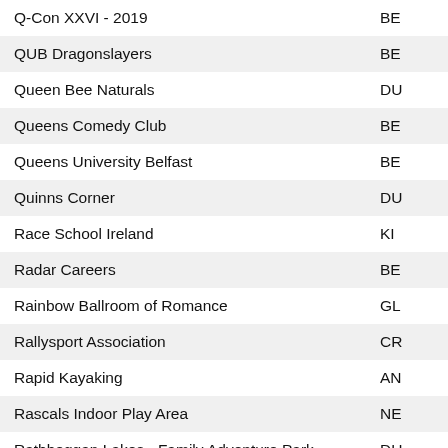| Name | Location |
| --- | --- |
| Q-Con XXVI - 2019 | BE |
| QUB Dragonslayers | BE |
| Queen Bee Naturals | DU |
| Queens Comedy Club | BE |
| Queens University Belfast | BE |
| Quinns Corner | DU |
| Race School Ireland | KI |
| Radar Careers | BE |
| Rainbow Ballroom of Romance | GL |
| Rallysport Association | CR |
| Rapid Kayaking | AN |
| Rascals Indoor Play Area | NE |
| Rathbeggan Lakes - Family Adventure Park | DU |
| Rathlin Glamping | RA |
| Rathlin Island Ferry Ltd | BA |
| Ravara Productions - The Sound of Music | BA |
| Raw Fitness Derry | DE |
| Ray Of Light | DE |
| REDACT Ballot 2019 |  |